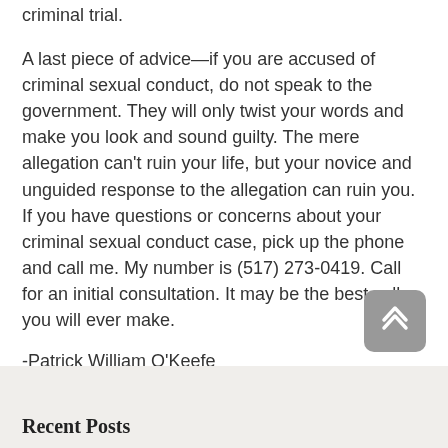criminal trial.
A last piece of advice—if you are accused of criminal sexual conduct, do not speak to the government. They will only twist your words and make you look and sound guilty. The mere allegation can't ruin your life, but your novice and unguided response to the allegation can ruin you. If you have questions or concerns about your criminal sexual conduct case, pick up the phone and call me. My number is (517) 273-0419. Call for an initial consultation. It may be the best call you will ever make.
-Patrick William O'Keefe
Recent Posts